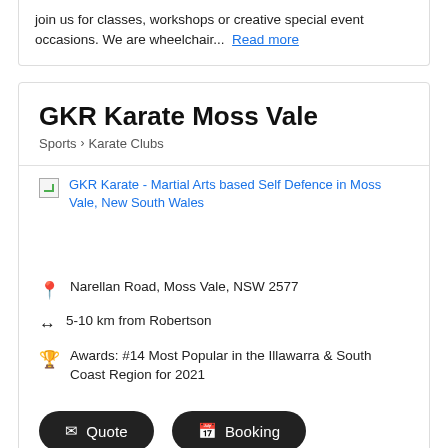join us for classes, workshops or creative special event occasions. We are wheelchair...  Read more
GKR Karate Moss Vale
Sports › Karate Clubs
[Figure (photo): GKR Karate - Martial Arts based Self Defence in Moss Vale, New South Wales (broken image with alt text link)]
Narellan Road, Moss Vale, NSW 2577
5-10 km from Robertson
Awards: #14 Most Popular in the Illawarra & South Coast Region for 2021
Quote
Booking